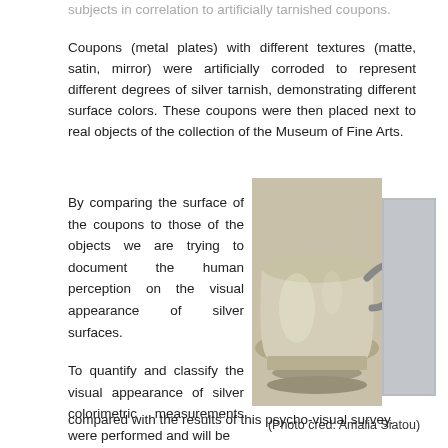subjects in correlation to artificially tarnished coupons.
Coupons (metal plates) with different textures (matte, satin, mirror) were artificially corroded to represent different degrees of silver tarnish, demonstrating different surface colors. These coupons were then placed next to real objects of the collection of the Museum of Fine Arts.
By comparing the surface of the coupons to those of the objects we are trying to document the human perception on the visual appearance of silver surfaces.
[Figure (photo): A silver cup/bowl with decorative handle from the Museum of Fine Arts collection, shown next to a grey metal coupon/plate for color comparison.]
(Photo cred: Amalia Siatou)
To quantify and classify the visual appearance of silver colorimetric measurements were performed and will be compared with the results of this psycho-visual survey.